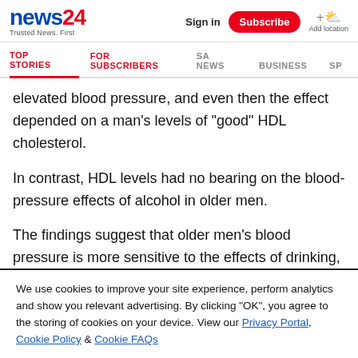news24 | Trusted News. First | Sign in | Subscribe | Add location
TOP STORIES  FOR SUBSCRIBERS  SA NEWS  BUSINESS  SP
elevated blood pressure, and even then the effect depended on a man's levels of "good" HDL cholesterol.
In contrast, HDL levels had no bearing on the blood-pressure effects of alcohol in older men.
The findings suggest that older men's blood pressure is more sensitive to the effects of drinking, according to study author Dr Ichiro Wakabayashi, of Hyogo College of
We use cookies to improve your site experience, perform analytics and show you relevant advertising. By clicking "OK", you agree to the storing of cookies on your device. View our Privacy Portal, Cookie Policy & Cookie FAQs